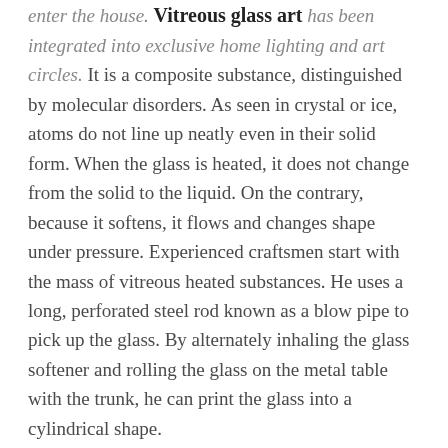enter the house. Vitreous glass art has been integrated into exclusive home lighting and art circles. It is a composite substance, distinguished by molecular disorders. As seen in crystal or ice, atoms do not line up neatly even in their solid form. When the glass is heated, it does not change from the solid to the liquid. On the contrary, because it softens, it flows and changes shape under pressure. Experienced craftsmen start with the mass of vitreous heated substances. He uses a long, perforated steel rod known as a blow pipe to pick up the glass. By alternately inhaling the glass softener and rolling the glass on the metal table with the trunk, he can print the glass into a cylindrical shape.
Smoother features of glass, such as flange edge shade, adjusted with additional metal equipment. Lamp shade comes in various colors. Louis Comfort Tiffany, renowned interior decorator, famous for creating stained glass lamp